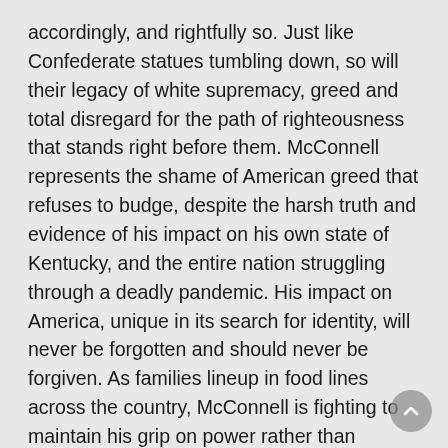accordingly, and rightfully so. Just like Confederate statues tumbling down, so will their legacy of white supremacy, greed and total disregard for the path of righteousness that stands right before them. McConnell represents the shame of American greed that refuses to budge, despite the harsh truth and evidence of his impact on his own state of Kentucky, and the entire nation struggling through a deadly pandemic. His impact on America, unique in its search for identity, will never be forgotten and should never be forgiven. As families lineup in food lines across the country, McConnell is fighting to maintain his grip on power rather than cooperate with fellow lawmakers to provide relief for desperate Americans. A crucial piece of legislation to provide Americans with much needed Covid-19 relief, as well as fund our military, H.R.6395 – National Defense Authorization Act for Fiscal Year 2021 (NDAA) is facing a veto threat from Trump and pushback from McConnell. When over 40 Democrats signed a letter on behalf of